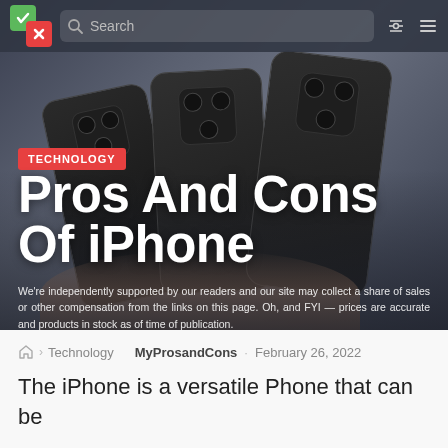Search
[Figure (photo): Three iPhones held in a hand, showing their camera backs, on a dark blurred background. Category badge 'TECHNOLOGY' in red overlaid on image.]
Pros And Cons Of iPhone
We're independently supported by our readers and our site may collect a share of sales or other compensation from the links on this page. Oh, and FYI — prices are accurate and products in stock as of time of publication.
Technology · MyProsandCons · February 26, 2022
The iPhone is a versatile Phone that can be